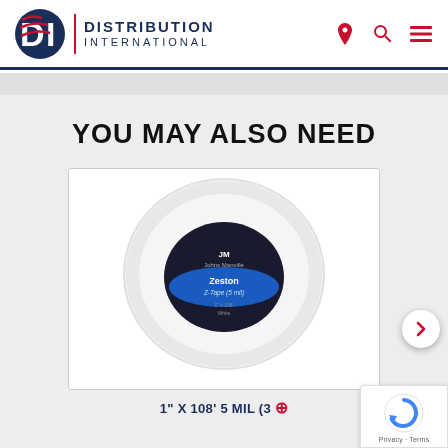[Figure (logo): Distribution International logo: DI letters with globe/lines graphic, red divider, text DISTRIBUTION INTERNATIONAL]
YOU MAY ALSO NEED
[Figure (photo): Roll of Zeston Z-Tape 5 mil product by Johns Manville, white cylindrical roll with dark label showing brand and product info]
1" X 108' 5 MIL (3